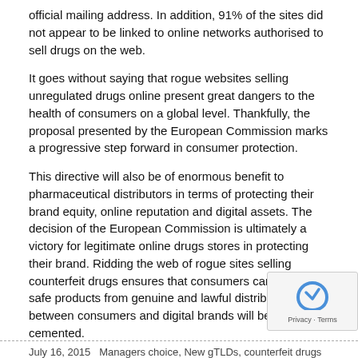official mailing address. In addition, 91% of the sites did not appear to be linked to online networks authorised to sell drugs on the web.
It goes without saying that rogue websites selling unregulated drugs online present great dangers to the health of consumers on a global level. Thankfully, the proposal presented by the European Commission marks a progressive step forward in consumer protection.
This directive will also be of enormous benefit to pharmaceutical distributors in terms of protecting their brand equity, online reputation and digital assets. The decision of the European Commission is ultimately a victory for legitimate online drugs stores in protecting their brand. Ridding the web of rogue sites selling counterfeit drugs ensures that consumers can purchase safe products from genuine and lawful distributors. Trust between consumers and digital brands will be further cemented.
dotNice – Experts in Digital Brand Protection
www.dotnice.com
For more information email: brandprotection-emea@dotnice.com
July 16, 2015   Managers choice, New gTLDs, counterfeit drugs